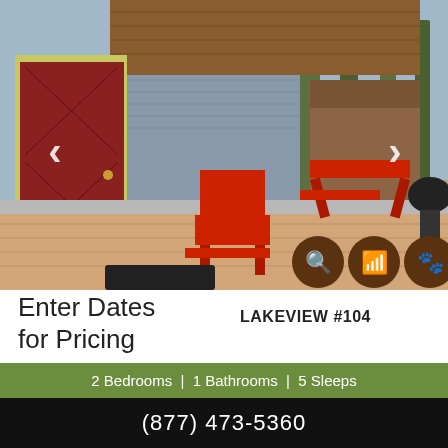[Figure (photo): Cabin exterior with red Adirondack chairs and picnic table on wooden deck, red barn-style door on left, cedar shake siding, navigation arrows on both sides]
Enter Dates for Pricing
LAKEVIEW #104
2 Bedrooms  |  1 Bathrooms  |  5 Sleeps
[Figure (photo): Second cabin listing photo showing trees and cabin exterior, with BRONZE badge and heart favorite icon]
(877) 473-5360